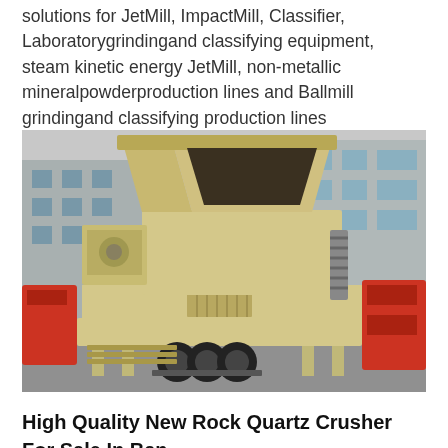solutions for JetMill, ImpactMill, Classifier, Laboratorygrindingand classifying equipment, steam kinetic energy JetMill, non-metallic mineralpowderproduction lines and Ballmill grindingand classifying production lines
[Figure (photo): A large industrial mobile impact crusher/mill machine on a trailer with black tires, painted in cream/beige color, parked in an industrial yard with red machinery visible on the right and a building in the background.]
High Quality New Rock Quartz Crusher For Sale In Bangladesh